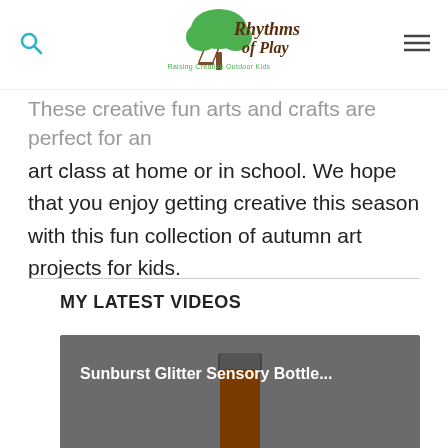Rhythms of Play — Raising Creative Outdoor Kids
These creative fun arts and crafts are perfect for an art class at home or in school. We hope that you enjoy getting creative this season with this fun collection of autumn art projects for kids.
MY LATEST VIDEOS
[Figure (screenshot): Video thumbnail for 'Sunburst Glitter Sensory Bottle...' showing a dark bottle against a gray background with a play button in the center.]